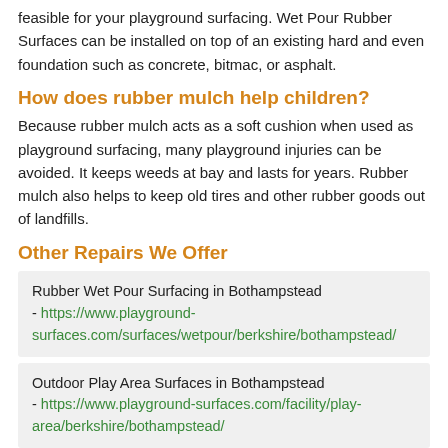feasible for your playground surfacing. Wet Pour Rubber Surfaces can be installed on top of an existing hard and even foundation such as concrete, bitmac, or asphalt.
How does rubber mulch help children?
Because rubber mulch acts as a soft cushion when used as playground surfacing, many playground injuries can be avoided. It keeps weeds at bay and lasts for years. Rubber mulch also helps to keep old tires and other rubber goods out of landfills.
Other Repairs We Offer
Rubber Wet Pour Surfacing in Bothampstead - https://www.playground-surfaces.com/surfaces/wetpour/berkshire/bothampstead/
Outdoor Play Area Surfaces in Bothampstead - https://www.playground-surfaces.com/facility/play-area/berkshire/bothampstead/
Critical Fall Height in Bothampstead - https://www.playground-surfaces.com/...